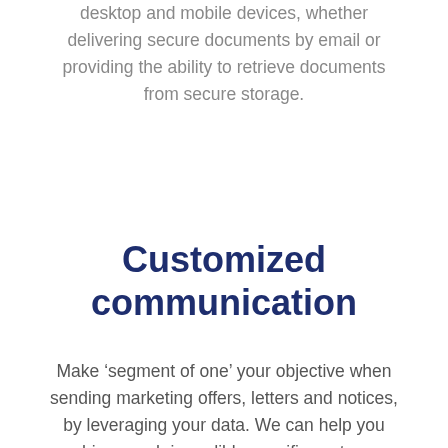desktop and mobile devices, whether delivering secure documents by email or providing the ability to retrieve documents from secure storage.
Customized communication
Make ‘segment of one’ your objective when sending marketing offers, letters and notices, by leveraging your data. We can help you achieve such incredibly specific customer segmentation